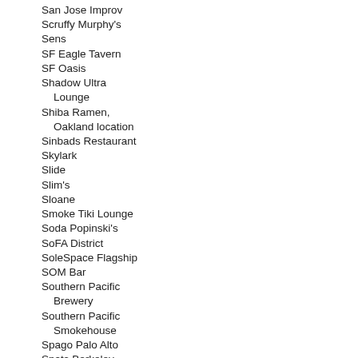San Jose Improv
Scruffy Murphy's
Sens
SF Eagle Tavern
SF Oasis
Shadow Ultra
    Lounge
Shiba Ramen,
    Oakland location
Sinbads Restaurant
Skylark
Slide
Slim's
Sloane
Smoke Tiki Lounge
Soda Popinski's
SoFA District
SoleSpace Flagship
SOM Bar
Southern Pacific
    Brewery
Southern Pacific
    Smokehouse
Spago Palo Alto
Spats Berkeley
Spin Ultra Lounge
Spirit Hustler
Starlight Room
Starline Social Club
    - Bar and
    Restaurant
Starry Plough
Stern Grove
    Festival
    Association
Stout Brothers Pub
    and Restaurant
Sub Rosa Sound
Subterranean Art
    House
Subterranean Art